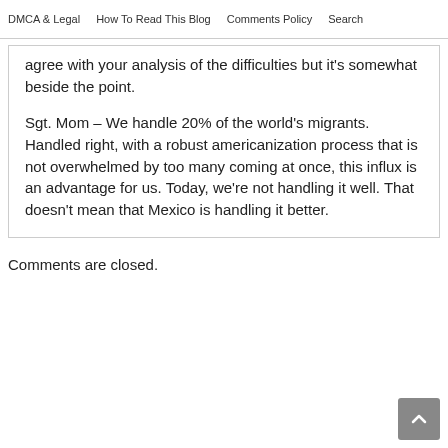DMCA & Legal   How To Read This Blog   Comments Policy   Search
agree with your analysis of the difficulties but it's somewhat beside the point.
Sgt. Mom – We handle 20% of the world's migrants. Handled right, with a robust americanization process that is not overwhelmed by too many coming at once, this influx is an advantage for us. Today, we're not handling it well. That doesn't mean that Mexico is handling it better.
Comments are closed.